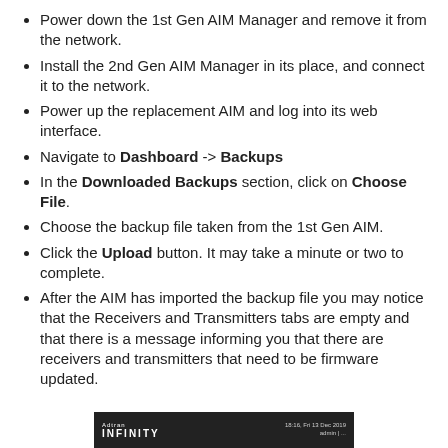Power down the 1st Gen AIM Manager and remove it from the network.
Install the 2nd Gen AIM Manager in its place, and connect it to the network.
Power up the replacement AIM and log into its web interface.
Navigate to Dashboard -> Backups
In the Downloaded Backups section, click on Choose File.
Choose the backup file taken from the 1st Gen AIM.
Click the Upload button. It may take a minute or two to complete.
After the AIM has imported the backup file you may notice that the Receivers and Transmitters tabs are empty and that there is a message informing you that there are receivers and transmitters that need to be firmware updated.
[Figure (screenshot): Footer screenshot showing Adtran Infinity branding on a dark background with date/time info on the right side.]